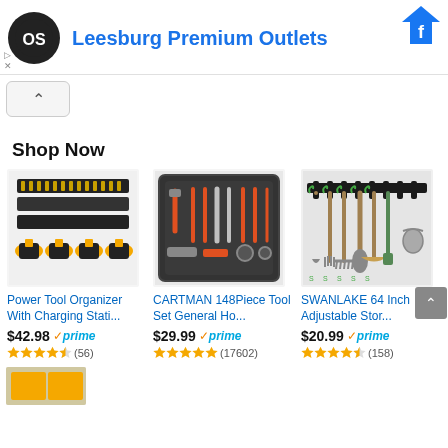[Figure (screenshot): Advertisement banner for Leesburg Premium Outlets with logo and Facebook icon]
Leesburg Premium Outlets
[Figure (screenshot): Collapse chevron button]
Shop Now
[Figure (photo): Power Tool Organizer with charging station and drill bits]
Power Tool Organizer With Charging Stati...
$42.98 prime (56 reviews, 4 stars)
[Figure (photo): CARTMAN 148 Piece tool set in a case]
CARTMAN 148Piece Tool Set General Ho...
$29.99 prime (17602 reviews, 4.5 stars)
[Figure (photo): SWANLAKE 64 Inch Adjustable Storage organizer with garden tools]
SWANLAKE 64 Inch Adjustable Stor...
$20.99 prime (158 reviews, 4 stars)
[Figure (photo): Partial product images at bottom]